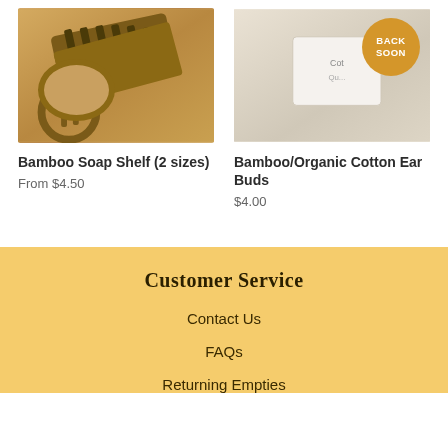[Figure (photo): Bamboo soap shelf and dish on wooden surface]
[Figure (photo): Bamboo/Organic Cotton Ear Buds product packaging with 'BACK SOON' badge]
Bamboo Soap Shelf (2 sizes)
From $4.50
Bamboo/Organic Cotton Ear Buds
$4.00
Customer Service
Contact Us
FAQs
Returning Empties